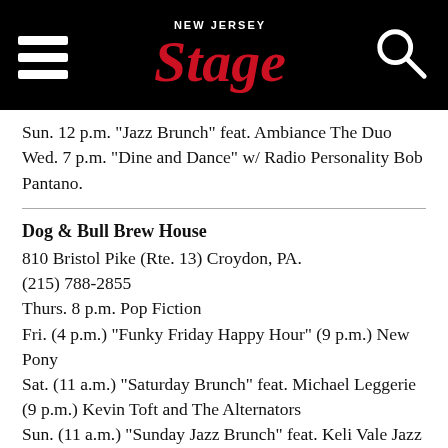New Jersey Stage
Sun. 12 p.m. "Jazz Brunch" feat. Ambiance The Duo
Wed. 7 p.m. "Dine and Dance" w/ Radio Personality Bob Pantano.
Dog & Bull Brew House
810 Bristol Pike (Rte. 13) Croydon, PA.
(215) 788-2855
Thurs. 8 p.m. Pop Fiction
Fri. (4 p.m.) "Funky Friday Happy Hour" (9 p.m.) New Pony
Sat. (11 a.m.) "Saturday Brunch" feat. Michael Leggerie (9 p.m.) Kevin Toft and The Alternators
Sun. (11 a.m.) "Sunday Jazz Brunch" feat. Keli Vale Jazz (4 p.m.) Ricky & Jenny
Frans Pub
116 South Main Street New Hope, PA
(215) 862-5539
Fri. 8:30 p.m. Honey Spot Blvd